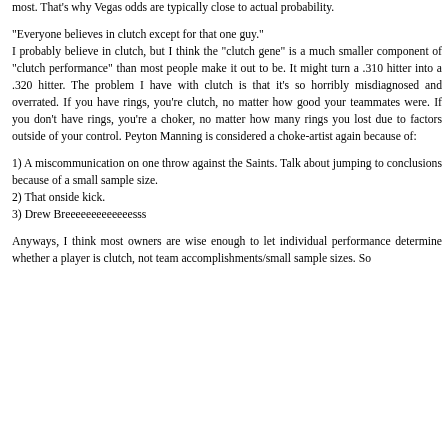most. That's why Vegas odds are typically close to actual probability.
"Everyone believes in clutch except for that one guy." I probably believe in clutch, but I think the "clutch gene" is a much smaller component of "clutch performance" than most people make it out to be. It might turn a .310 hitter into a .320 hitter. The problem I have with clutch is that it's so horribly misdiagnosed and overrated. If you have rings, you're clutch, no matter how good your teammates were. If you don't have rings, you're a choker, no matter how many rings you lost due to factors outside of your control. Peyton Manning is considered a choke-artist again because of:
1) A miscommunication on one throw against the Saints. Talk about jumping to conclusions because of a small sample size.
2) That onside kick.
3) Drew Breeeeeeeeeeeeesss
Anyways, I think most owners are wise enough to let individual performance determine whether a player is clutch, not team accomplishments/small sample sizes. So